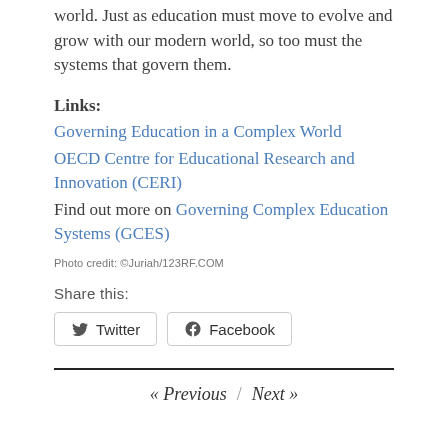world. Just as education must move to evolve and grow with our modern world, so too must the systems that govern them.
Links:
Governing Education in a Complex World
OECD Centre for Educational Research and Innovation (CERI)
Find out more on Governing Complex Education Systems (GCES)
Photo credit: ©Juriah/123RF.COM
Share this:
Twitter  Facebook
« Previous / Next »